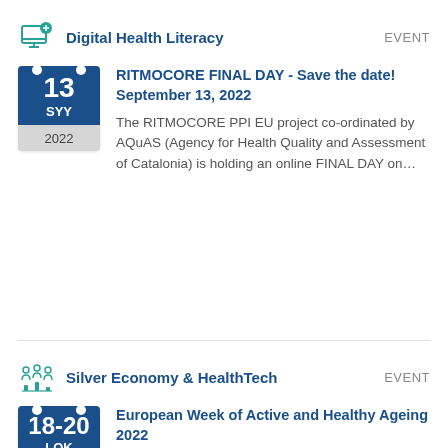Digital Health Literacy
EVENT
RITMOCORE FINAL DAY - Save the date! September 13, 2022
The RITMOCORE PPI EU project co-ordinated by AQuAS (Agency for Health Quality and Assessment of Catalonia) is holding an online FINAL DAY on…
Silver Economy & HealthTech
EVENT
European Week of Active and Healthy Ageing 2022
The European Week of Active & Healthy Ageing aims to be the